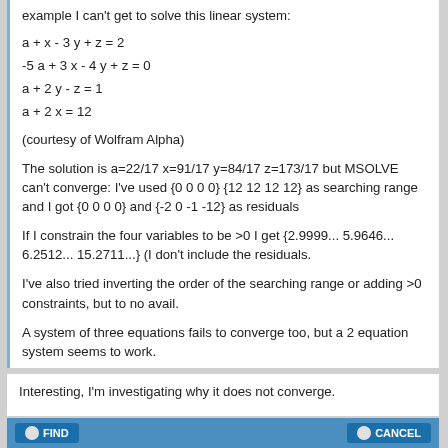example I can't get to solve this linear system:
(courtesy of Wolfram Alpha)
The solution is a=22/17 x=91/17 y=84/17 z=173/17 but MSOLVE can't converge: I've used {0 0 0 0} {12 12 12 12} as searching range and I got {0 0 0 0} and {-2 0 -1 -12} as residuals
If I constrain the four variables to be >0 I get {2.9999... 5.9646... 6.2512... 15.2711...} (I don't include the residuals.
I've also tried inverting the order of the searching range or adding >0 constraints, but to no avail.
A system of three equations fails to converge too, but a 2 equation system seems to work.
Interesting, I'm investigating why it does not converge.